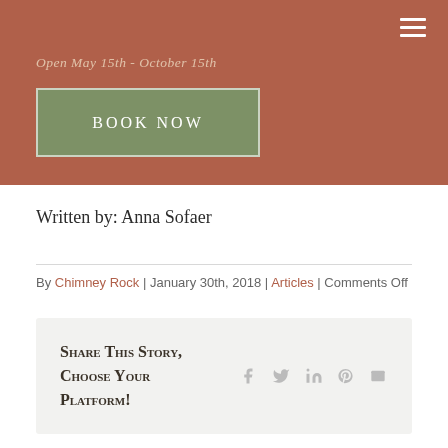Open May 15th - October 15th
BOOK NOW
Written by: Anna Sofaer
By Chimney Rock | January 30th, 2018 | Articles | Comments Off
Share This Story, Choose Your Platform!